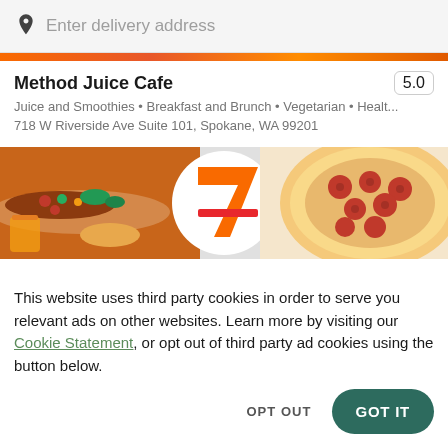Enter delivery address
Method Juice Cafe   5.0
Juice and Smoothies • Breakfast and Brunch • Vegetarian • Healt...
718 W Riverside Ave Suite 101, Spokane, WA 99201
[Figure (photo): Food collage banner showing hot dogs/sandwiches on the left, 7-Eleven logo in the center, and pepperoni pizza on the right]
This website uses third party cookies in order to serve you relevant ads on other websites. Learn more by visiting our Cookie Statement, or opt out of third party ad cookies using the button below.